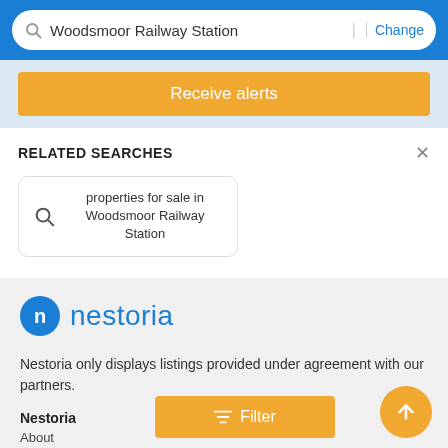Woodsmoor Railway Station | Change
Receive alerts
RELATED SEARCHES
properties for sale in Woodsmoor Railway Station
[Figure (logo): Nestoria logo: blue circle with white 'n' followed by 'nestoria' in blue text]
Nestoria only displays listings provided under agreement with our partners.
Nestoria
About
Contact Us
Filter